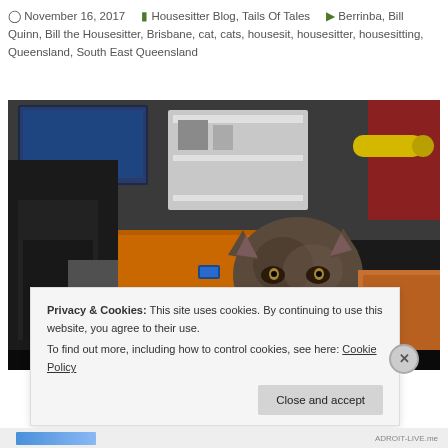🕐 November 16, 2017   🗂 Housesitter Blog, Tails Of Tales   🏷 Berrinba, Bill Quinn, Bill the Housesitter, Brisbane, cat, cats, housesit, housesitter, housesitting, Queensland, South East Queensland
[Figure (photo): A grumpy-looking grey-brown cat resting on a bed with orange cushions, looking directly at the camera. In the background there is a TV playing, white shelving, and a person's legs visible. Indoor home setting at night.]
Privacy & Cookies: This site uses cookies. By continuing to use this website, you agree to their use.
To find out more, including how to control cookies, see here: Cookie Policy
Close and accept